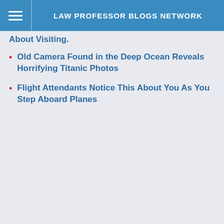LAW PROFESSOR BLOGS NETWORK
About Visiting.
Old Camera Found in the Deep Ocean Reveals Horrifying Titanic Photos
Flight Attendants Notice This About You As You Step Aboard Planes